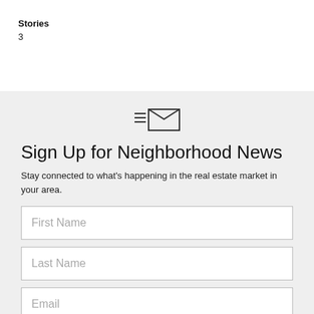Stories
3
[Figure (illustration): Newsletter/email icon: three horizontal lines on the left and an envelope outline on the right]
Sign Up for Neighborhood News
Stay connected to what's happening in the real estate market in your area.
First Name
Last Name
Email